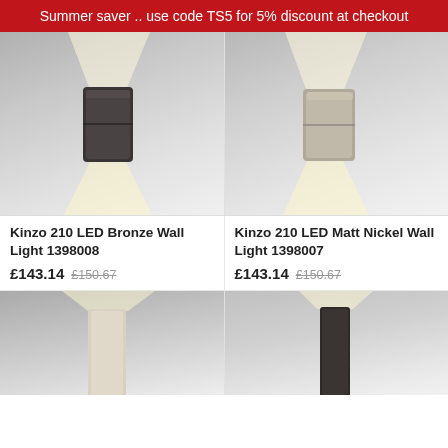Summer saver .. use code TS5 for 5% discount at checkout
[Figure (photo): Kinzo 210 LED Bronze wall light mounted on grey wall, emitting upward and downward beams of light]
[Figure (photo): Kinzo 210 LED Matt Nickel wall light mounted on grey wall, emitting upward and downward beams of light]
Kinzo 210 LED Bronze Wall Light 1398008
£143.14  £150.67
Kinzo 210 LED Matt Nickel Wall Light 1398007
£143.14  £150.67
[Figure (photo): Partial view of a tall slim white/grey LED wall light fixture with upward beam]
[Figure (photo): Partial view of a tall slim dark bronze LED wall light fixture with upward beam]